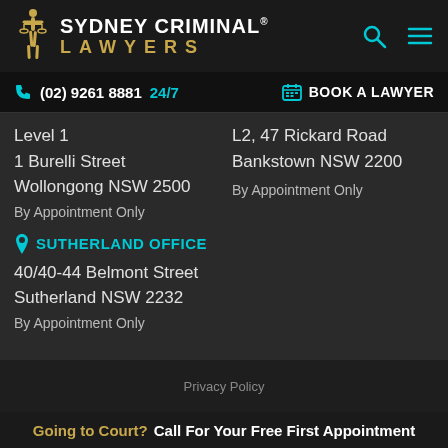[Figure (logo): Sydney Criminal Lawyers logo with gold figure and text]
(02) 9261 8881 24/7   BOOK A LAWYER
Level 1
1 Burelli Street
Wollongong NSW 2500
By Appointment Only
L2, 47 Rickard Road
Bankstown NSW 2200
By Appointment Only
SUTHERLAND OFFICE
40/40-44 Belmont Street
Sutherland NSW 2232
By Appointment Only
Going to Court? Call For Your Free First Appointment